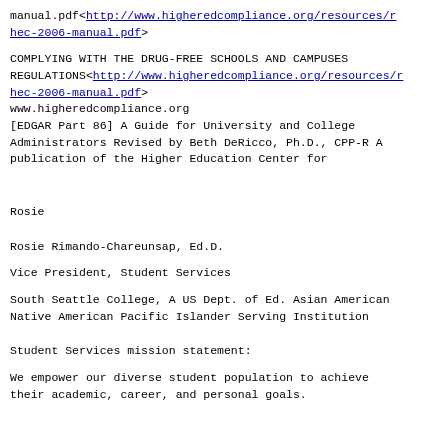manual.pdf<http://www.higheredcompliance.org/resources/hec-2006-manual.pdf>
COMPLYING WITH THE DRUG-FREE SCHOOLS AND CAMPUSES REGULATIONS<http://www.higheredcompliance.org/resources/hec-2006-manual.pdf>
www.higheredcompliance.org
[EDGAR Part 86] A Guide for University and College Administrators Revised by Beth DeRicco, Ph.D., CPP-R A publication of the Higher Education Center for
Rosie
Rosie Rimando-Chareunsap, Ed.D.
Vice President, Student Services
South Seattle College, A US Dept. of Ed. Asian American Native American Pacific Islander Serving Institution
Student Services mission statement:
We empower our diverse student population to achieve their academic, career, and personal goals.